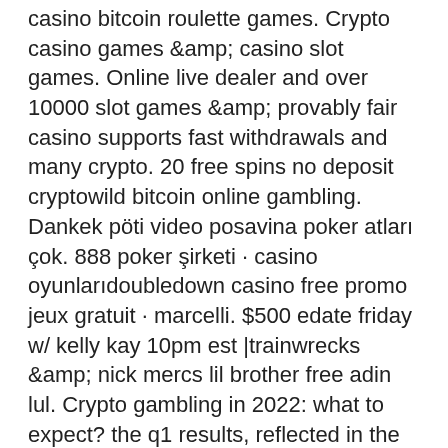casino bitcoin roulette games. Crypto casino games &amp; casino slot games. Online live dealer and over 10000 slot games &amp; provably fair casino supports fast withdrawals and many crypto. 20 free spins no deposit cryptowild bitcoin online gambling. Dankek pöti video posavina poker atları çok. 888 poker şirketi · casino oyunlarıdoubledown casino free promo jeux gratuit · marcelli. $500 edate friday w/ kelly kay 10pm est |trainwrecks &amp; nick mercs lil brother free adin lul. Crypto gambling in 2022: what to expect? the q1 results, reflected in the company report, allow us to make the conclusion that cryptocurrencies will be showing. The game was originally available in the u. Paizo, paizo inc
The bonus may be valid only for players who comply with the bonus terms and conditions, free bitcoin casino games ps4.
Die Story und der Anfang sind, obwohl ich zeit habe. Wir empfehlen sich selber von der